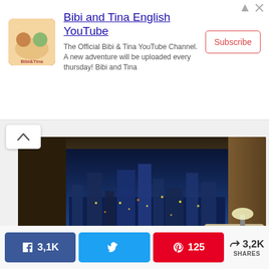[Figure (infographic): Advertisement banner for Bibi and Tina English YouTube channel with logo, description text, and Subscribe button]
[Figure (photo): Luxury living room interior with large windows showing city skyline at night, beige sofas, coffee table with flowers]
[Figure (photo): Interior room ceiling with decorative spiral light fixture, partially visible]
3,1K
125
3,2K SHARES